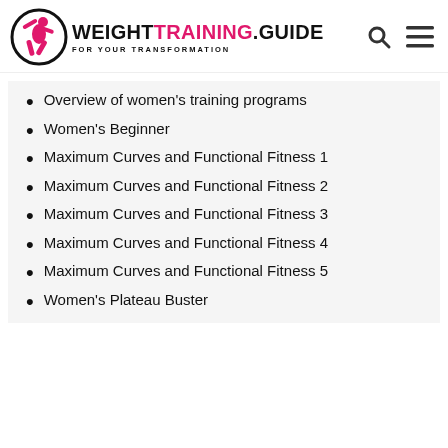WEIGHTTRAINING.GUIDE FOR YOUR TRANSFORMATION
Overview of women’s training programs
Women’s Beginner
Maximum Curves and Functional Fitness 1
Maximum Curves and Functional Fitness 2
Maximum Curves and Functional Fitness 3
Maximum Curves and Functional Fitness 4
Maximum Curves and Functional Fitness 5
Women’s Plateau Buster